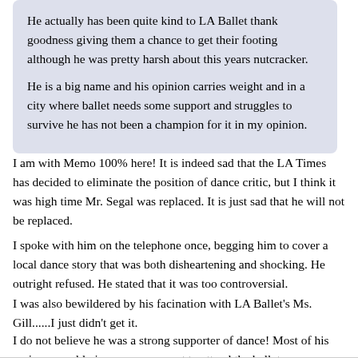He actually has been quite kind to LA Ballet thank goodness giving them a chance to get their footing although he was pretty harsh about this years nutcracker.

He is a big name and his opinion carries weight and in a city where ballet needs some support and struggles to survive he has not been a champion for it in my opinion.
I am with Memo 100% here! It is indeed sad that the LA Times has decided to eliminate the position of dance critic, but I think it was high time Mr. Segal was replaced. It is just sad that he will not be replaced.
I spoke with him on the telephone once, begging him to cover a local dance story that was both disheartening and shocking. He outright refused. He stated that it was too controversial.
I was also bewildered by his facination with LA Ballet's Ms. Gill......I just didn't get it.
I do not believe he was a strong supporter of dance! Most of his reviews would give one reason not to attend the ballet.